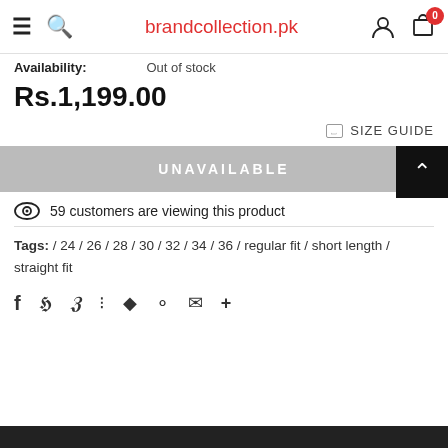brandcollection.pk
Availability: Out of stock
Rs.1,199.00
SIZE GUIDE
UNAVAILABLE
59 customers are viewing this product
Tags: / 24 / 26 / 28 / 30 / 32 / 34 / 36 / regular fit / short length / straight fit